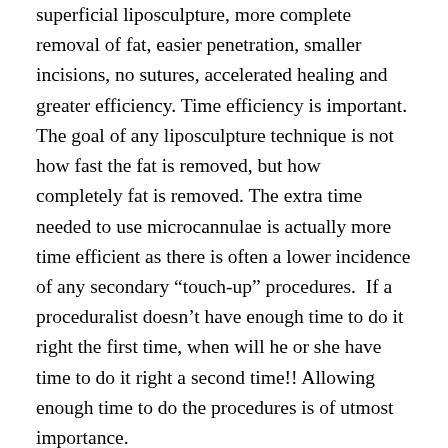superficial liposculpture, more complete removal of fat, easier penetration, smaller incisions, no sutures, accelerated healing and greater efficiency. Time efficiency is important. The goal of any liposculpture technique is not how fast the fat is removed, but how completely fat is removed. The extra time needed to use microcannulae is actually more time efficient as there is often a lower incidence of any secondary “touch-up” procedures.  If a proceduralist doesn’t have enough time to do it right the first time, when will he or she have time to do it right a second time!! Allowing enough time to do the procedures is of utmost importance.
Tumescent liposculpture at Be Sculptured benefits patients most when compared with traditional and VASER liposuction.